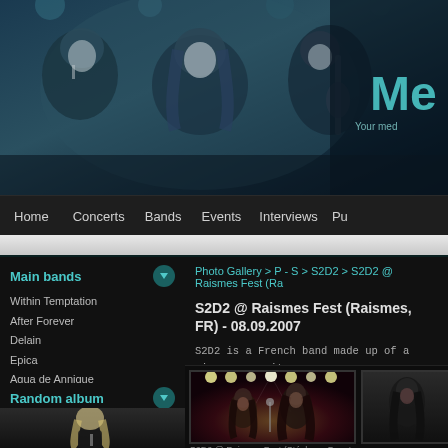[Figure (photo): Header banner showing rock band members performing on stage with blue tint, site logo 'Me' visible top right with tagline 'Your med']
Home   Concerts   Bands   Events   Interviews   Pu...
Main bands
Within Temptation
After Forever
Delain
Epica
Agua de Annique
Kingfisher Sky
All bands
Random album
[Figure (photo): Random album thumbnail showing blonde female singer performing]
Photo Gallery > P - S > S2D2 > S2D2 @ Raismes Fest (Ra...
S2D2 @ Raismes Fest (Raismes, FR) - 08.09.2007
S2D2 is a French band made up of a singer, a guita... melodies and intense guitar solos. They were the first... moment enjoyable. It was an honest opening.
[Figure (photo): Concert photo thumbnail of S2D2 band members performing on stage with stage lights]
S2D2 @ Raismes Fest (Stéphane Boget
[Figure (photo): Partial concert photo thumbnail on the right side showing band member]